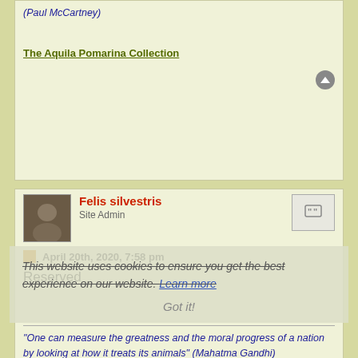(Paul McCartney)
The Aquila Pomarina Collection
Felis silvestris
Site Admin
April 20th, 2020, 7:58 pm
Reserved
"One can measure the greatness and the moral progress of a nation by looking at how it treats its animals" (Mahatma Gandhi) "You can judge a man's true character by the way he treats his fellow animals" (Paul McCartney)
The Aquila Pomarina Collection
Felis silvestris
Site Admin